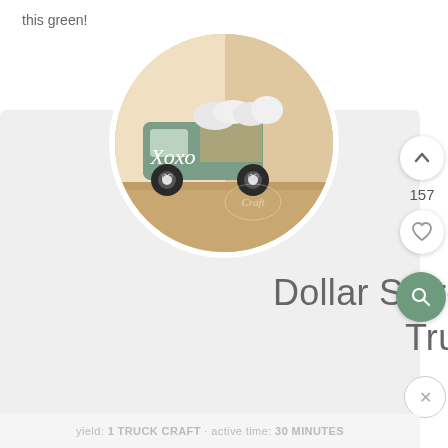this green!
[Figure (photo): Circular photo of a green wooden toy truck with 'Xoxo' written on it, carrying white flowers in the truck bed, displayed on a wooden shelf. A watermark logo reading 'Craft' is visible.]
Dollar Store Valentine Truck
yield: 1 TRUCK CRAFT · active time: 30 MINUTES